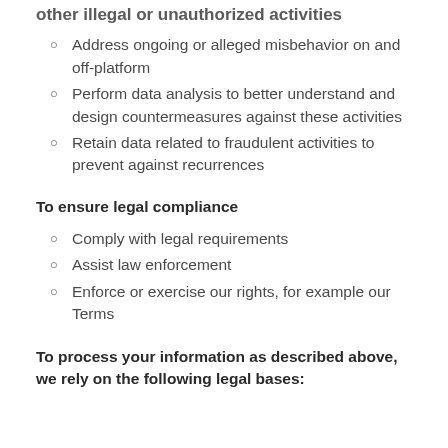other illegal or unauthorized activities
Address ongoing or alleged misbehavior on and off-platform
Perform data analysis to better understand and design countermeasures against these activities
Retain data related to fraudulent activities to prevent against recurrences
To ensure legal compliance
Comply with legal requirements
Assist law enforcement
Enforce or exercise our rights, for example our Terms
To process your information as described above, we rely on the following legal bases: